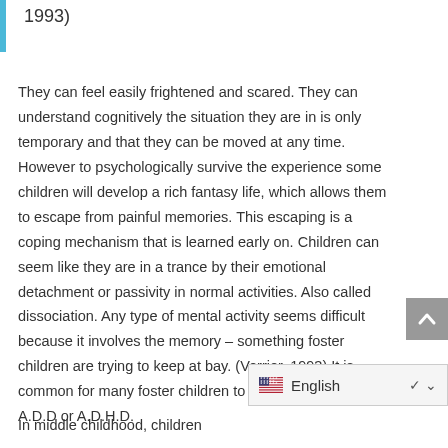1993)
They can feel easily frightened and scared. They can understand cognitively the situation they are in is only temporary and that they can be moved at any time. However to psychologically survive the experience some children will develop a rich fantasy life, which allows them to escape from painful memories. This escaping is a coping mechanism that is learned early on. Children can seem like they are in a trance by their emotional detachment or passivity in normal activities. Also called dissociation. Any type of mental activity seems difficult because it involves the memory – something foster children are trying to keep at bay. (Verrier, 1993) It is common for many foster children to be diagnosed with A.D.D or A.D.H.D.
In middle childhood, children